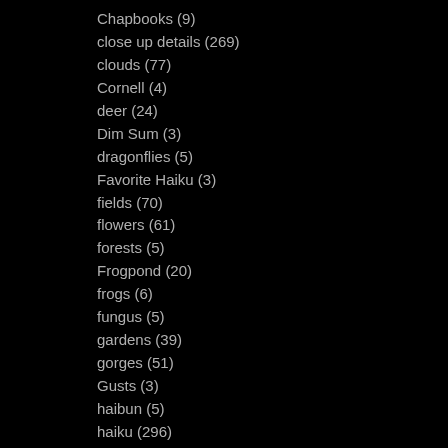Chapbooks (9)
close up details (269)
clouds (77)
Cornell (4)
deer (24)
Dim Sum (3)
dragonflies (5)
Favorite Haiku (3)
fields (70)
flowers (61)
forests (5)
Frogpond (20)
frogs (6)
fungus (5)
gardens (39)
gorges (51)
Gusts (3)
haibun (5)
haiku (296)
Haiku Way of Life (6)
hedgerow (1)
Heron's Nest (1)
hills and mountains (38)
horses (1)